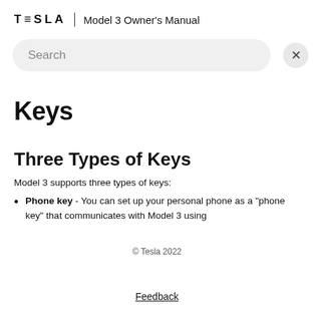TESLA | Model 3 Owner's Manual
Search
Keys
Three Types of Keys
Model 3 supports three types of keys:
Phone key - You can set up your personal phone as a "phone key" that communicates with Model 3 using
© Tesla 2022
Feedback